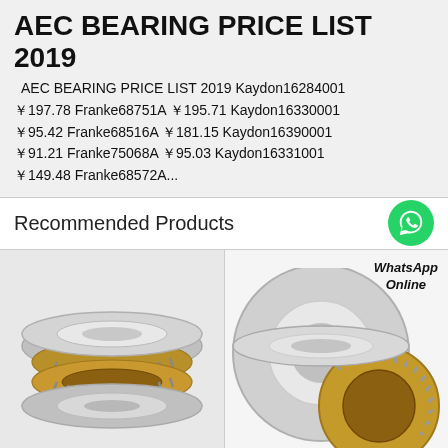AEC BEARING PRICE LIST 2019
AEC BEARING PRICE LIST 2019 Kaydon16284001 ￥197.78 Franke68751A ￥195.71 Kaydon16330001 ￥95.42 Franke68516A ￥181.15 Kaydon16390001 ￥91.21 Franke75068A ￥95.03 Kaydon16331001 ￥149.48 Franke68572A...
Recommended Products
[Figure (photo): Thrust bearing components — gold cage roller bearing assembly with silver rings, three parts shown]
[Figure (photo): Thrust bearing disassembled — silver flat ring and gold cage bearing disc, with WhatsApp Online label]
All Products
Contact Now